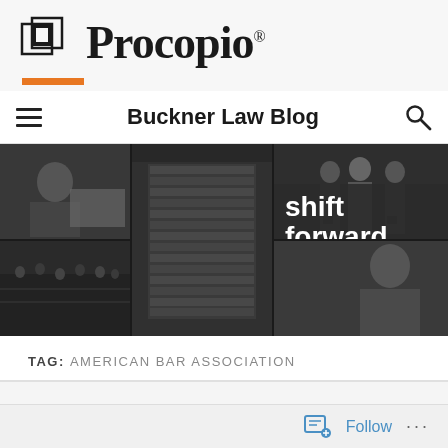[Figure (logo): Procopio law firm logo with nested squares icon and serif wordmark]
Buckner Law Blog
[Figure (photo): Hero banner collage of black and white professional photos including people in business settings, a modern office building, cityscape, with white text 'shift forward' and an orange accent bar]
TAG: AMERICAN BAR ASSOCIATION
[Figure (screenshot): Follow button with document/plus icon and ellipsis menu at bottom of page]